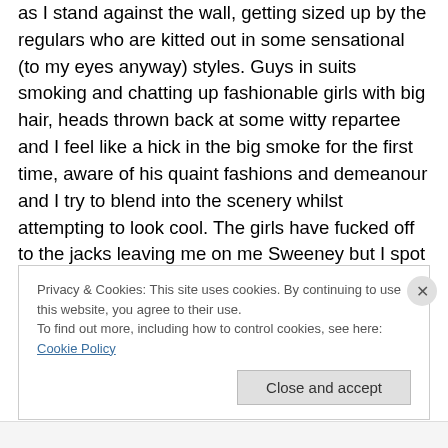as I stand against the wall, getting sized up by the regulars who are kitted out in some sensational (to my eyes anyway) styles. Guys in suits smoking and chatting up fashionable girls with big hair, heads thrown back at some witty repartee and I feel like a hick in the big smoke for the first time, aware of his quaint fashions and demeanour and I try to blend into the scenery whilst attempting to look cool. The girls have fucked off to the jacks leaving me on me Sweeney but I spot a Mod from my School, Peter Ragazolli, and he waves and beckons me over and introduces me to some of his crew and before I know it
Privacy & Cookies: This site uses cookies. By continuing to use this website, you agree to their use.
To find out more, including how to control cookies, see here: Cookie Policy